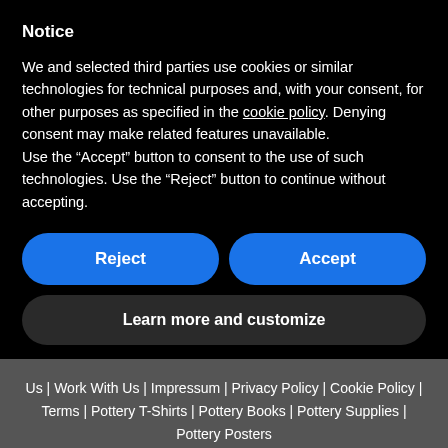Notice
We and selected third parties use cookies or similar technologies for technical purposes and, with your consent, for other purposes as specified in the cookie policy. Denying consent may make related features unavailable.
Use the “Accept” button to consent to the use of such technologies. Use the “Reject” button to continue without accepting.
Reject
Accept
Learn more and customize
Us | Work With Us | Impressum | Privacy Policy | Cookie Policy | Terms | Pottery T-Shirts | Pottery Books | Pottery Supplies | Pottery Posters